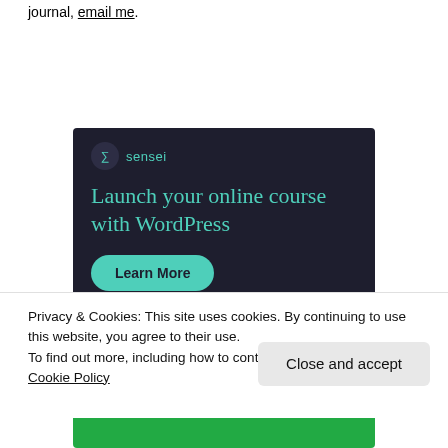journal, email me.
[Figure (screenshot): Sensei advertisement banner on dark background reading 'Launch your online course with WordPress' with a teal 'Learn More' button and Sensei logo.]
Privacy & Cookies: This site uses cookies. By continuing to use this website, you agree to their use.
To find out more, including how to control cookies, see here: Cookie Policy
Close and accept